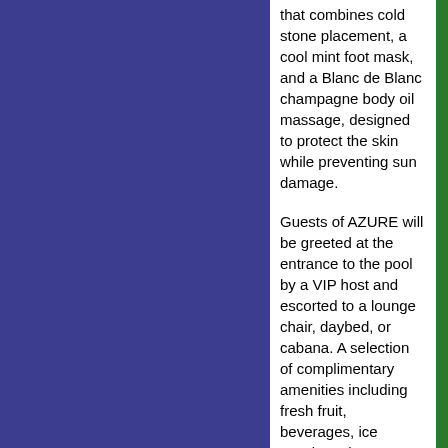that combines cold stone placement, a cool mint foot mask, and a Blanc de Blanc champagne body oil massage, designed to protect the skin while preventing sun damage.
Guests of AZURE will be greeted at the entrance to the pool by a VIP host and escorted to a lounge chair, daybed, or cabana. A selection of complimentary amenities including fresh fruit, beverages, ice towels, Evian water mistings, and samplings of delectable cuisine will be passed throughout the day by one of the “amenity butlers and butlerettes.”
AZURE will be open from 11:00 a.m. - 6:00 p.m., Friday through Sunday for guests 21 and over. Please visit www.azurelasvegas.com or call